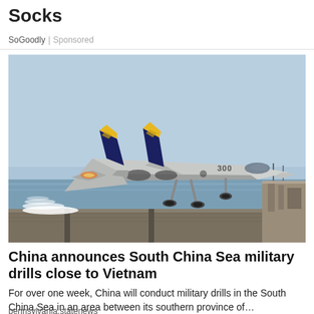Socks
SoGoodly | Sponsored
[Figure (photo): A military fighter jet (numbered 300) taking off from an aircraft carrier deck, with yellow-tipped tail fins, over ocean water.]
China announces South China Sea military drills close to Vietnam
For over one week, China will conduct military drills in the South China Sea in an area between its southern province of…
pennsylvania.statenews